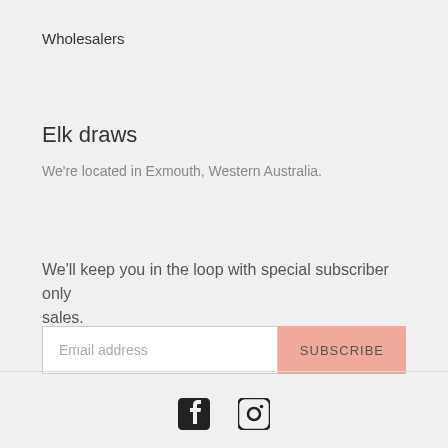Wholesalers
Elk draws
We're located in Exmouth,  Western Australia.
We'll keep you in the loop with special subscriber only sales.
[Figure (other): Email subscription form with text input field labeled 'Email address' and a salmon-colored SUBSCRIBE button]
[Figure (other): Social media icons: Facebook and Instagram at the bottom of the page]